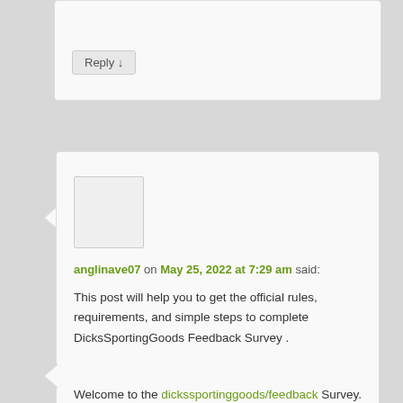Reply ↓
[Figure (other): User avatar placeholder image (blank white/gray rectangle)]
anglinave07 on May 25, 2022 at 7:29 am said:
This post will help you to get the official rules, requirements, and simple steps to complete DicksSportingGoods Feedback Survey .
Welcome to the dickssportinggoods/feedback Survey.
Reply ↓